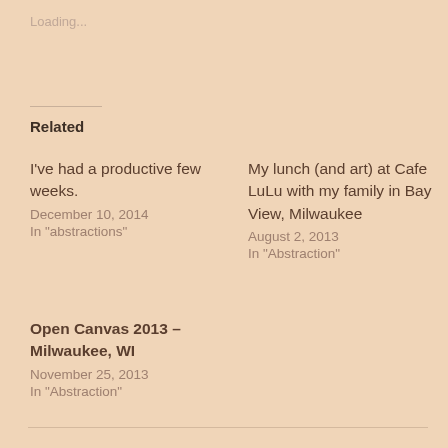Loading...
Related
I've had a productive few weeks.
December 10, 2014
In "abstractions"
My lunch (and art) at Cafe LuLu with my family in Bay View, Milwaukee
August 2, 2013
In "Abstraction"
Open Canvas 2013 – Milwaukee, WI
November 25, 2013
In "Abstraction"